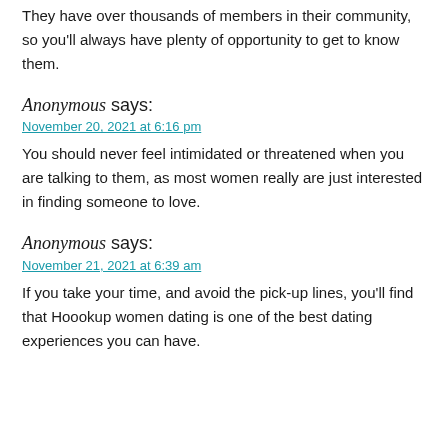They have over thousands of members in their community, so you'll always have plenty of opportunity to get to know them.
Anonymous says:
November 20, 2021 at 6:16 pm
You should never feel intimidated or threatened when you are talking to them, as most women really are just interested in finding someone to love.
Anonymous says:
November 21, 2021 at 6:39 am
If you take your time, and avoid the pick-up lines, you'll find that Hoookup women dating is one of the best dating experiences you can have.